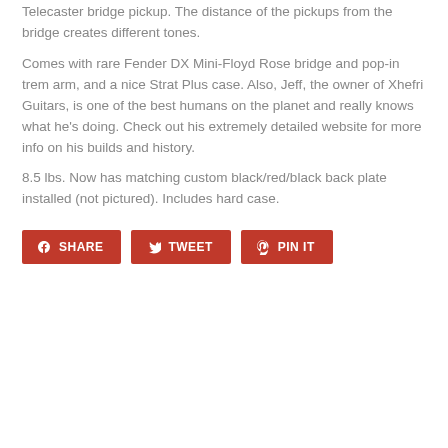Telecaster bridge pickup. The distance of the pickups from the bridge creates different tones.
Comes with rare Fender DX Mini-Floyd Rose bridge and pop-in trem arm, and a nice Strat Plus case. Also, Jeff, the owner of Xhefri Guitars, is one of the best humans on the planet and really knows what he's doing. Check out his extremely detailed website for more info on his builds and history.
8.5 lbs. Now has matching custom black/red/black back plate installed (not pictured). Includes hard case.
[Figure (other): Social sharing buttons: SHARE (Facebook), TWEET (Twitter), PIN IT (Pinterest) — all in dark red/crimson color]